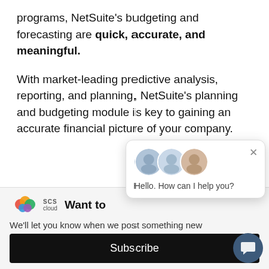programs, NetSuite's budgeting and forecasting are quick, accurate, and meaningful.
With market-leading predictive analysis, reporting, and planning, NetSuite's planning and budgeting module is key to gaining an accurate financial picture of your company.
[Figure (screenshot): SCS Cloud website screenshot showing a chat popup with avatars and 'Hello. How can I help you?' message, a 'Want to' heading, subscription prompt, and Subscribe button]
We'll let you know when we post something new